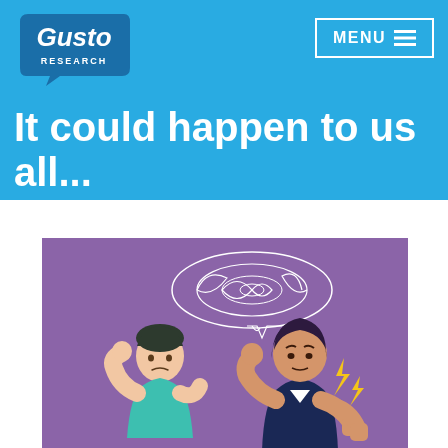[Figure (logo): Gusto Research logo - white speech bubble with 'Gusto' in italic script and 'RESEARCH' below on blue background]
MENU ≡
It could happen to us all...
[Figure (illustration): Illustration on purple background showing two people in conflict: a person in teal/green top touching their head looking confused, and a woman with dark hair in dark jacket looking angry with fists raised and lightning bolt symbols beside her. A scribbled thought/speech bubble cloud is above them.]